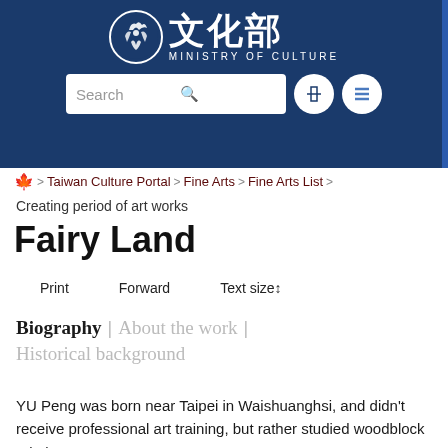[Figure (logo): Ministry of Culture (Taiwan) logo with Chinese characters 文化部 and circular emblem, white on dark blue background, with search bar and navigation icons]
Taiwan Culture Portal > Fine Arts > Fine Arts List >
Creating period of art works
Fairy Land
Print   Forward   Text size↕
Biography | About the work | Historical background
YU Peng was born near Taipei in Waishuanghsi, and didn't receive professional art training, but rather studied woodblock printing